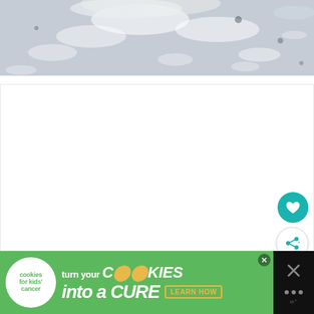[Figure (photo): Top portion of a food/recipe photo showing a wet, icy or flour-dusted surface with a soft grey-white textured background, partially cropped]
[Figure (screenshot): White content area placeholder with a teal heart/favorite button and a white share button on the right side]
[Figure (infographic): Advertisement banner for Cookies for Kids Cancer: green background with logo on left, text 'turn your COOKIES into a CURE LEARN HOW' with close button. Right side shows dark panel with X close button and app icon dots.]